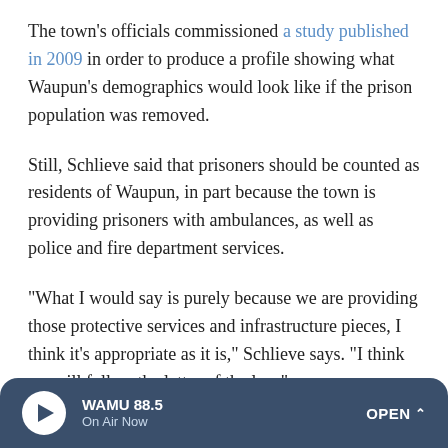The town's officials commissioned a study published in 2009 in order to produce a profile showing what Waupun's demographics would look like if the prison population was removed.
Still, Schlieve said that prisoners should be counted as residents of Waupun, in part because the town is providing prisoners with ambulances, as well as police and fire department services.
"What I would say is purely because we are providing those protective services and infrastructure pieces, I think it's appropriate as it is," Schlieve says. "I think we will follow the letter of the law."
WAMU 88.5 | On Air Now | OPEN